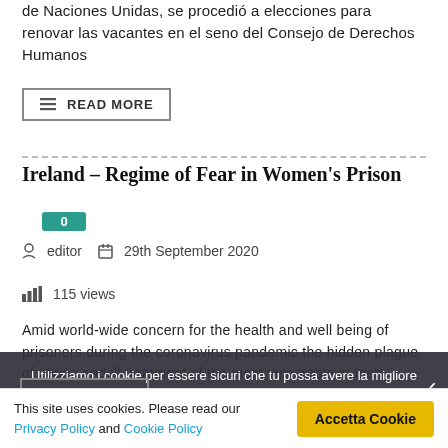de Naciones Unidas, se procedió a elecciones para renovar las vacantes en el seno del Consejo de Derechos Humanos
READ MORE
Ireland – Regime of Fear in Women's Prison
0
editor   29th September 2020
115 views
Amid world-wide concern for the health and well being of prisoners during the coronavirus pandemic the hidden plague of abuse and ill treatment of the most vulnerable in Irish society once again raises its head in Ireland.
READ MORE
Utilizziamo i cookie per essere sicuri che tu possa avere la migliore esperienza sul nostro sito. Se continui ad utilizzare questo sito noi assumiamo che tu ne sia felice.
This site uses cookies. Please read our Privacy Policy and Cookie Policy
Accetta Cookie